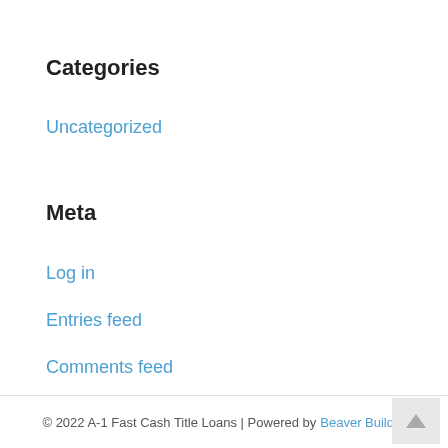Categories
Uncategorized
Meta
Log in
Entries feed
Comments feed
WordPress.org
© 2022 A-1 Fast Cash Title Loans | Powered by Beaver Builder